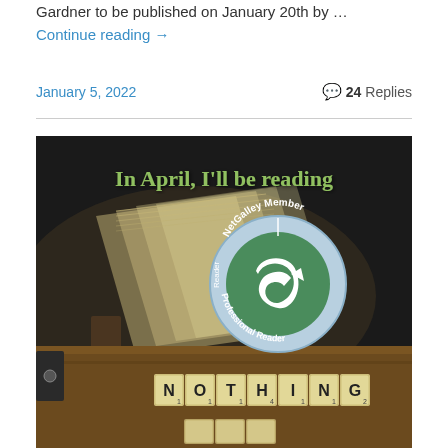Gardner to be published on January 20th by … Continue reading →
January 5, 2022   24 Replies
[Figure (photo): Book blog image with dark background showing an open book, Scrabble tiles spelling NOTHING, text 'In April, I'll be reading', and a NetGalley Member Professional Reader badge/seal overlaid on the image.]